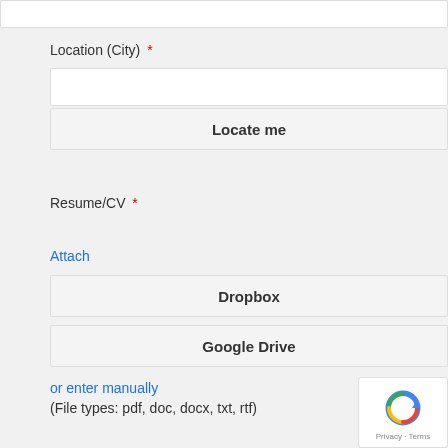Location (City) *
Locate me
Resume/CV *
Attach
Dropbox
Google Drive
or enter manually
(File types: pdf, doc, docx, txt, rtf)